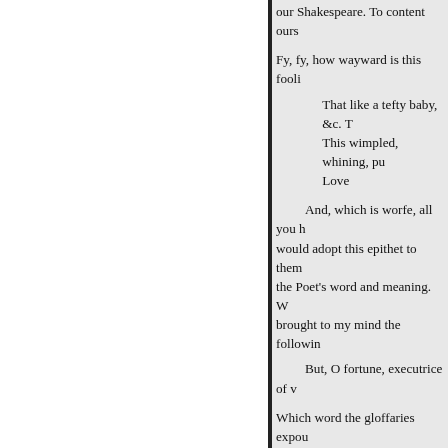our Shakespeare. To content ours
Fy, fy, how wayward is this fooli
That like a tefty baby, &c. T
This wimpled, whining, pu
Love
And, which is worfe, all you h would adopt this epithet to them the Poet's word and meaning. W brought to my mind the followin
But, O fortune, executrice of v
Which word the gloffaries expou happening to dip into Heylin's C Banquo:
Thefe two (fays he) travelling Scots call them, &c.
I prefently recollected, that thi thought it was very probable tha